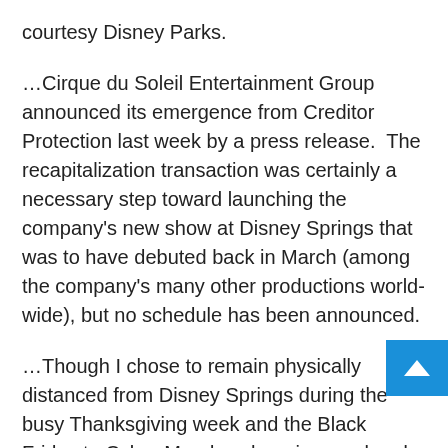courtesy Disney Parks.
…Cirque du Soleil Entertainment Group announced its emergence from Creditor Protection last week by a press release. The recapitalization transaction was certainly a necessary step toward launching the company's new show at Disney Springs that was to have debuted back in March (among the company's many other productions world-wide), but no schedule has been announced.
…Though I chose to remain physically distanced from Disney Springs during the busy Thanksgiving week and the Black Friday to Cyber Monday shopping weekend, Santa Claus has begun making his holiday appearances there by watercraft, along with Mrs. Claus. Hopefully, I will personally be able to document some from the water, but in the…